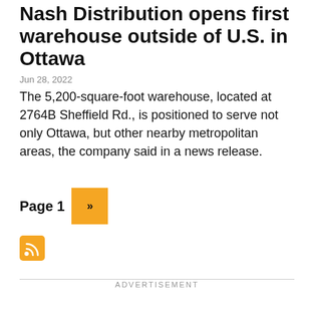Nash Distribution opens first warehouse outside of U.S. in Ottawa
Jun 28, 2022
The 5,200-square-foot warehouse, located at 2764B Sheffield Rd., is positioned to serve not only Ottawa, but other nearby metropolitan areas, the company said in a news release.
Page 1 »
[Figure (other): RSS feed icon (orange square with RSS symbol)]
ADVERTISEMENT